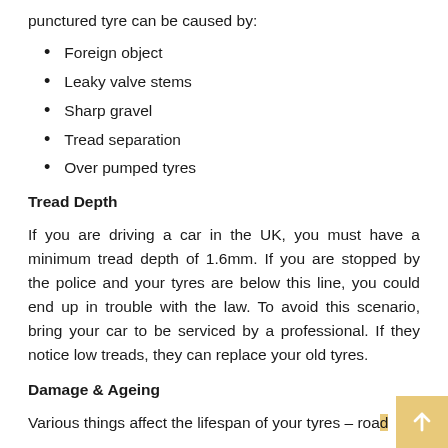punctured tyre can be caused by:
Foreign object
Leaky valve stems
Sharp gravel
Tread separation
Over pumped tyres
Tread Depth
If you are driving a car in the UK, you must have a minimum tread depth of 1.6mm. If you are stopped by the police and your tyres are below this line, you could end up in trouble with the law. To avoid this scenario, bring your car to be serviced by a professional. If they notice low treads, they can replace your old tyres.
Damage & Ageing
Various things affect the lifespan of your tyres – road